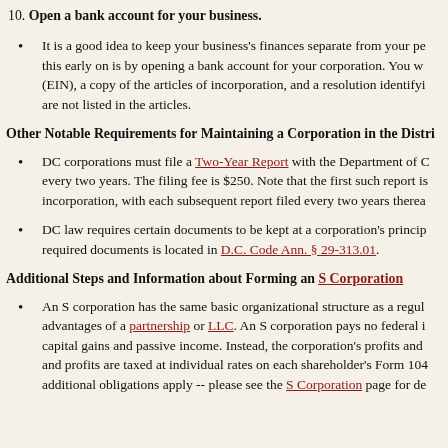10. Open a bank account for your business.
It is a good idea to keep your business's finances separate from your personal finances. One way to do this early on is by opening a bank account for your corporation. You will need your Employer Identification Number (EIN), a copy of the articles of incorporation, and a resolution identifying who is authorized to open the account if they are not listed in the articles.
Other Notable Requirements for Maintaining a Corporation in the District
DC corporations must file a Two-Year Report with the Department of Consumer and Regulatory Affairs every two years. The filing fee is $250. Note that the first such report is due two years after the date of incorporation, with each subsequent report filed every two years thereafter.
DC law requires certain documents to be kept at a corporation's principal office. A list of the required documents is located in D.C. Code Ann. § 29-313.01.
Additional Steps and Information about Forming an S Corporation
An S corporation has the same basic organizational structure as a regular corporation, but has the tax advantages of a partnership or LLC. An S corporation pays no federal income tax on ordinary income, capital gains and passive income. Instead, the corporation's profits and losses pass through to shareholders, and profits are taxed at individual rates on each shareholder's Form 1040. S corporations have some additional obligations apply -- please see the S Corporation page for details.